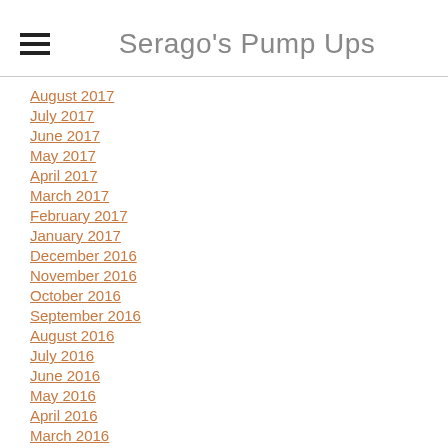Serago's Pump Ups
August 2017
July 2017
June 2017
May 2017
April 2017
March 2017
February 2017
January 2017
December 2016
November 2016
October 2016
September 2016
August 2016
July 2016
June 2016
May 2016
April 2016
March 2016